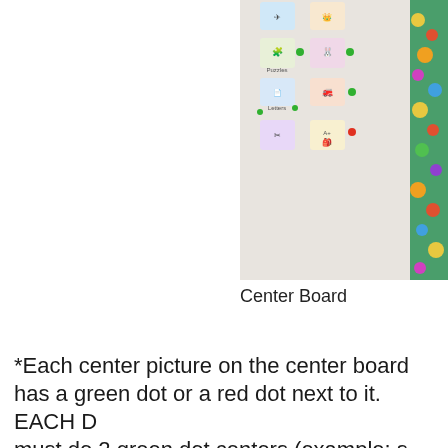[Figure (photo): Classroom center board on a white surface with various center activity pictures and colored dots (green and red) arranged in a grid, with colorful decorations on the right edge.]
Center Board
*Each center picture on the center board has a green dot or a red dot next to it. EACH DAY students must do 2 green dot centers (example: science, math) before moving on to a red dot center (example: folder games, art, puzzles). This motivates... student does not have to m... SCROLL TO TOP n... continue on green dots. Think of the gr...